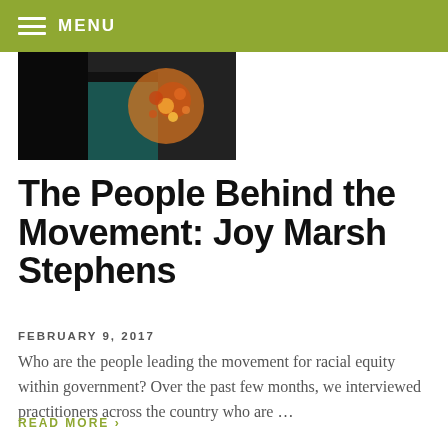MENU
[Figure (photo): Partial photo of a person wearing a dark top with colorful floral pattern, cropped at top showing shoulders and partial face]
The People Behind the Movement: Joy Marsh Stephens
FEBRUARY 9, 2017
Who are the people leading the movement for racial equity within government? Over the past few months, we interviewed practitioners across the country who are …
READ MORE ›